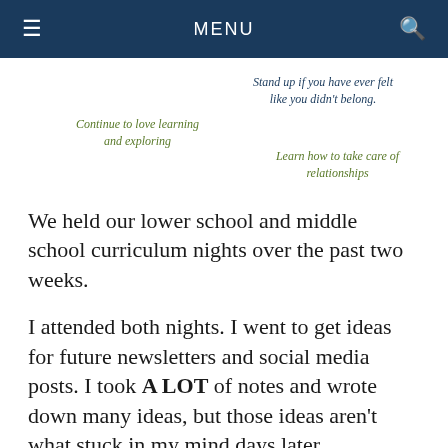MENU
[Figure (infographic): Partial infographic with italic text quotes in dark blue and green: 'Stand up if you have ever felt like you didn't belong.', 'Continue to love learning and exploring', 'Learn how to take care of relationships']
We held our lower school and middle school curriculum nights over the past two weeks.
I attended both nights. I went to get ideas for future newsletters and social media posts. I took A LOT of notes and wrote down many ideas, but those ideas aren't what stuck in my mind days later.
At some point, during the course of both nights, I began to notice themes that were coming up. What was I hearing in between the “tactics” of how families can support students at home, how teachers